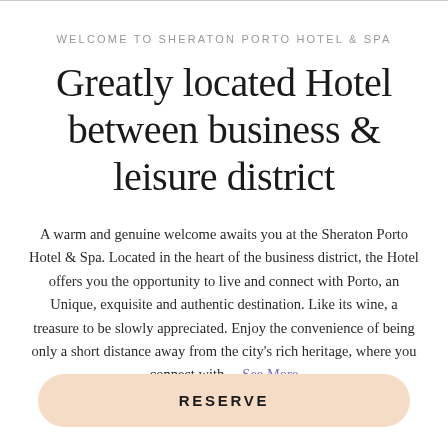WELCOME TO SHERATON PORTO HOTEL & SPA
Greatly located Hotel between business & leisure district
A warm and genuine welcome awaits you at the Sheraton Porto Hotel & Spa. Located in the heart of the business district, the Hotel offers you the opportunity to live and connect with Porto, an Unique, exquisite and authentic destination. Like its wine, a treasure to be slowly appreciated. Enjoy the convenience of being only a short distance away from the city's rich heritage, where you connect with... See More
RESERVE